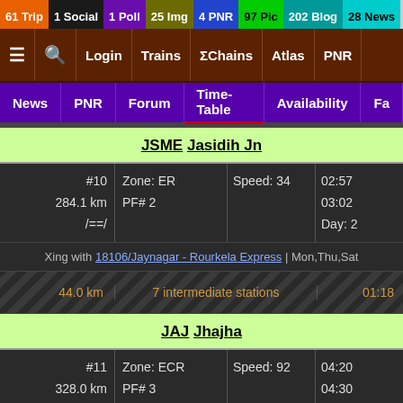61 Trip | 1 Social | 1 Poll | 25 Img | 4 PNR | 97 Pic | 202 Blog | 28 News | 2 Topic
≡  🔍  Login  Trains  ΣChains  Atlas  PNR
News | PNR | Forum | Time-Table | Availability | Fa
JSME Jasidih Jn
| Stop | Zone/PF | Speed | Times |
| --- | --- | --- | --- |
| #10
284.1 km
/==/ | Zone: ER
PF# 2 | Speed: 34 | 02:57
03:02
Day: 2 |
Xing with 18106/Jaynagar - Rourkela Express | Mon,Thu,Sat
44.0 km    7 intermediate stations    01:18
JAJ Jhajha
| Stop | Zone/PF | Speed | Times |
| --- | --- | --- | --- |
| #11
328.0 km
/==/ | Zone: ECR
PF# 3 | Speed: 92 | 04:20
04:30
Day: 2 |
26.1 km    3 intermediate stations
JMU Jamui